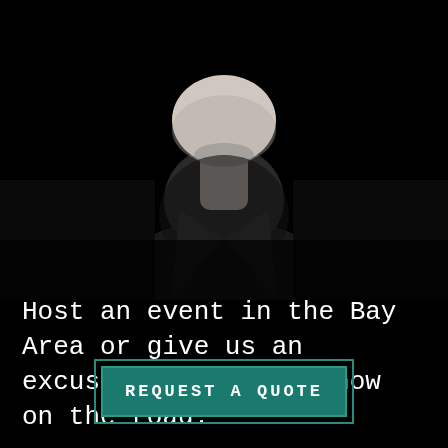[Figure (photo): Black and white photo of a person (lower face/chin visible, wearing a dark turtleneck or high collar), against a black background. The figure is cropped at the top showing mainly the neck and collar area.]
Host an event in the Bay Area or give us an excuse to take our show on the road.
REQUEST A QUOTE